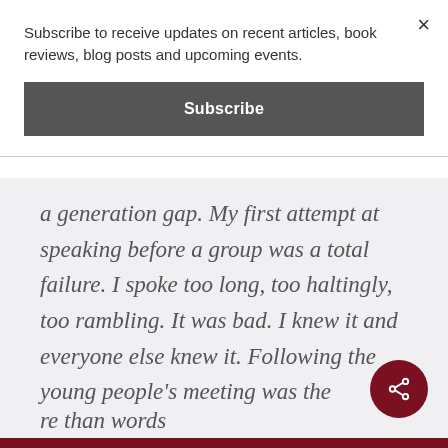Subscribe to receive updates on recent articles, book reviews, blog posts and upcoming events.
Subscribe
a generation gap. My first attempt at speaking before a group was a total failure. I spoke too long, too haltingly, too rambling. It was bad. I knew it and everyone else knew it. Following the young people’s meeting was the evening service and then the ride home where no one said a word, a
re than words